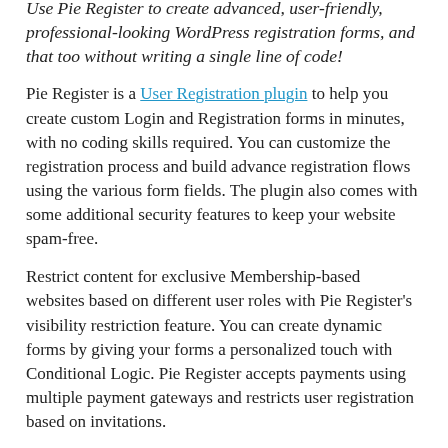Use Pie Register to create advanced, user-friendly, professional-looking WordPress registration forms, and that too without writing a single line of code!
Pie Register is a User Registration plugin to help you create custom Login and Registration forms in minutes, with no coding skills required. You can customize the registration process and build advance registration flows using the various form fields. The plugin also comes with some additional security features to keep your website spam-free.
Restrict content for exclusive Membership-based websites based on different user roles with Pie Register's visibility restriction feature. You can create dynamic forms by giving your forms a personalized touch with Conditional Logic. Pie Register accepts payments using multiple payment gateways and restricts user registration based on invitations.